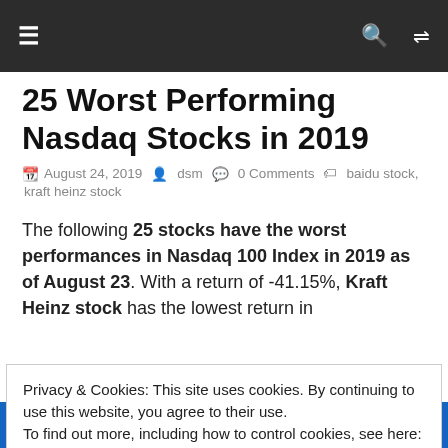≡   🔍  ⇄
25 Worst Performing Nasdaq Stocks in 2019
August 24, 2019  dsm  0 Comments  baidu stock, kraft heinz stock
The following 25 stocks have the worst performances in Nasdaq 100 Index in 2019 as of August 23. With a return of -41.15%, Kraft Heinz stock has the lowest return in
Privacy & Cookies: This site uses cookies. By continuing to use this website, you agree to their use.
To find out more, including how to control cookies, see here: Cookie Policy

Close and accept